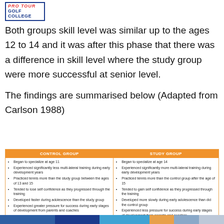[Figure (logo): Pro Tour Golf College logo — blue bordered box with red italic PRO TOUR text and blue GOLF COLLEGE text]
Both groups skill level was similar up to the ages 12 to 14 and it was after this phase that there was a difference in skill level where the study group were more successful at senior level.
The findings are summarised below (Adapted from Carlson 1988)
| CONTROL GROUP | STUDY GROUP |
| --- | --- |
| • Began to specialize at age 11
• Experienced significantly less multi-lateral training during early development years
• Practiced tennis more than the study group between the ages of 13 and 15
• Tended to lose self confidence as they progressed through the training
• Developed faster during adolescence than the study group
• Experienced greater pressure for success during early stages of development from parents and coaches | • Began to specialize at age 14
• Experienced significantly more multi-lateral training during early development years
• Practiced tennis more than the control group after the age of 15
• Tended to gain self confidence as they progressed through the training
• Developed more slowly during early adolescence than did the control group
• Experienced less pressure for success during early stages of development from parents and coaches |